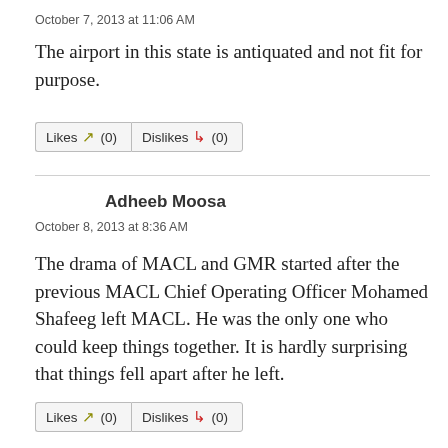October 7, 2013 at 11:06 AM
The airport in this state is antiquated and not fit for purpose.
Likes (0)  Dislikes (0)
Adheeb Moosa
October 8, 2013 at 8:36 AM
The drama of MACL and GMR started after the previous MACL Chief Operating Officer Mohamed Shafeeg left MACL. He was the only one who could keep things together. It is hardly surprising that things fell apart after he left.
Likes (0)  Dislikes (0)